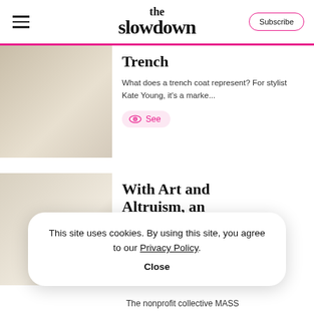the slowdown | Subscribe
Trench
What does a trench coat represent? For stylist Kate Young, it's a marke...
See
With Art and Altruism, an Exhibition Explores
This site uses cookies. By using this site, you agree to our Privacy Policy. Close
The nonprofit collective MASS